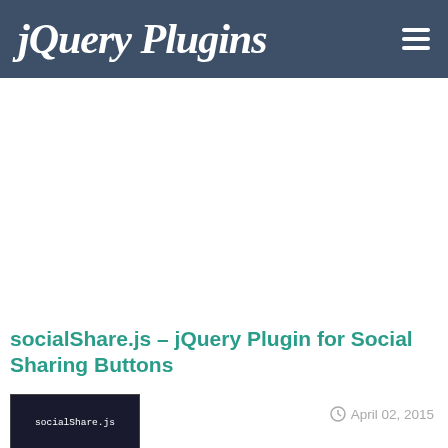jQuery Plugins
[Figure (other): Advertisement / blank white space area]
socialShare.js – jQuery Plugin for Social Sharing Buttons
[Figure (screenshot): Thumbnail image showing socialShare.js logo on dark background]
April 02, 2015